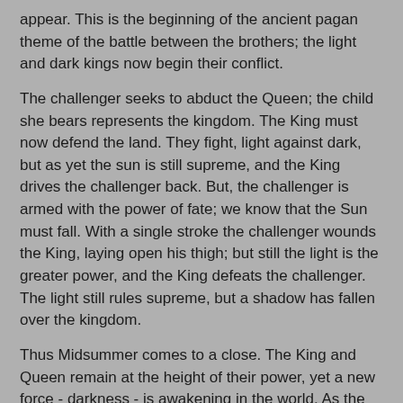appear. This is the beginning of the ancient pagan theme of the battle between the brothers; the light and dark kings now begin their conflict.
The challenger seeks to abduct the Queen; the child she bears represents the kingdom. The King must now defend the land. They fight, light against dark, but as yet the sun is still supreme, and the King drives the challenger back. But, the challenger is armed with the power of fate; we know that the Sun must fall. With a single stroke the challenger wounds the King, laying open his thigh; but still the light is the greater power, and the King defeats the challenger. The light still rules supreme, but a shadow has fallen over the kingdom.
Thus Midsummer comes to a close. The King and Queen remain at the height of their power, yet a new force - darkness - is awakening in the world. As the seasons continue to turn, the gods begin to reveal a further mystery: not only are they light, they are also dark as well. Thus the King and Queen have awakened to a deeper mystery; they have seen that not only are they male and female, but they are also light and dark as well.
As we look at the natural world, we see that the Sun is now waning. The days grow shorter, and we sense profound changes in the world